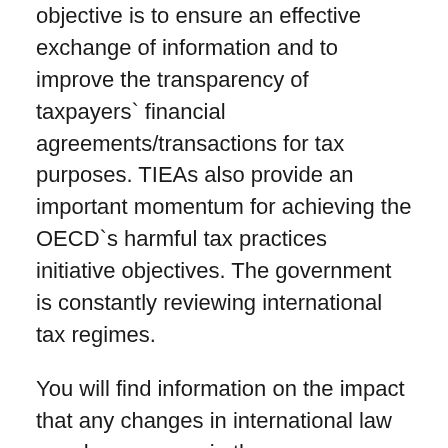objective is to ensure an effective exchange of information and to improve the transparency of taxpayers` financial agreements/transactions for tax purposes. TIEAs also provide an important momentum for achieving the OECD`s harmful tax practices initiative objectives. The government is constantly reviewing international tax regimes.
You will find information on the impact that any changes in international law may have on you in the new legislation. Each TIEA defines the obligation between Australia and the non-OECD partner to help each other by exchanging correct tax information relevant to the management and enforcement of their national tax laws (civil and criminal). The information can only be provided on request, i.e. a court is not required to provide